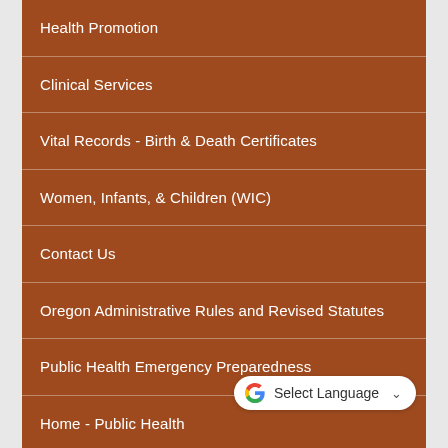Health Promotion
Clinical Services
Vital Records - Birth & Death Certificates
Women, Infants, & Children (WIC)
Contact Us
Oregon Administrative Rules and Revised Statutes
Public Health Emergency Preparedness
Home - Public Health
Accreditation
[Figure (other): Google Translate widget button showing Google G logo, 'Select Language' text, and a dropdown arrow]